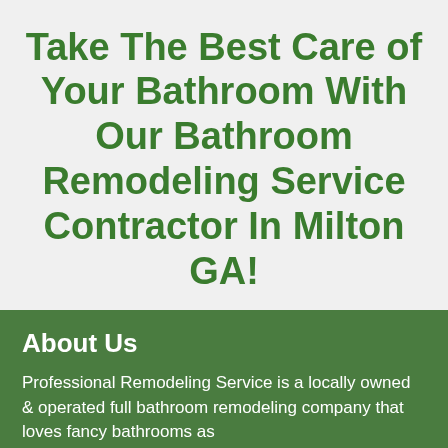Take The Best Care of Your Bathroom With Our Bathroom Remodeling Service Contractor In Milton GA!
About Us
Professional Remodeling Service is a locally owned & operated full bathroom remodeling company that loves fancy bathrooms as